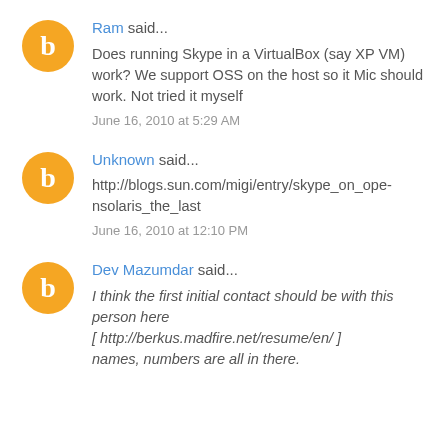Ram said... Does running Skype in a VirtualBox (say XP VM) work? We support OSS on the host so it Mic should work. Not tried it myself — June 16, 2010 at 5:29 AM
Unknown said... http://blogs.sun.com/migi/entry/skype_on_opensolaris_the_last — June 16, 2010 at 12:10 PM
Dev Mazumdar said... I think the first initial contact should be with this person here [ http://berkus.madfire.net/resume/en/ ] names, numbers are all in there.